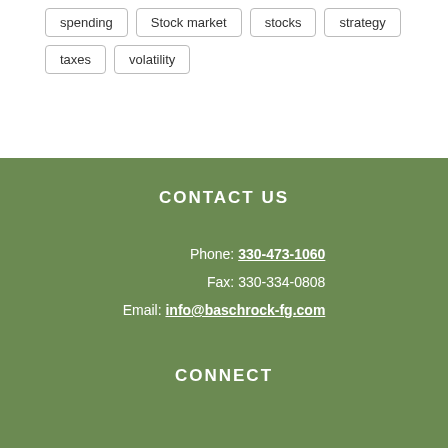spending
Stock market
stocks
strategy
taxes
volatility
CONTACT US
Phone: 330-473-1060
Fax: 330-334-0808
Email: info@baschrock-fg.com
CONNECT